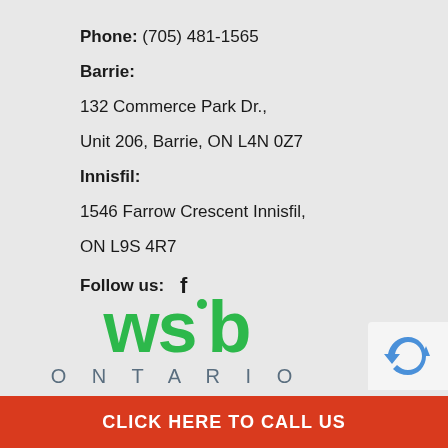Phone: (705) 481-1565
Barrie:
132 Commerce Park Dr.,
Unit 206, Barrie, ON L4N 0Z7
Innisfil:
1546 Farrow Crescent Innisfil,
ON L9S 4R7
Follow us: f
[Figure (logo): WSIB Ontario logo in green with dot above i, ONTARIO in grey spaced letters below]
[Figure (logo): reCAPTCHA badge in bottom right corner]
CLICK HERE TO CALL US